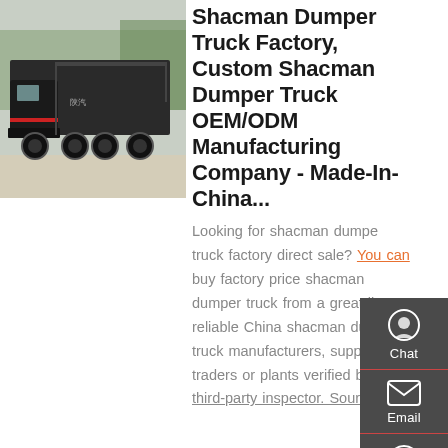[Figure (photo): A dark-colored Shacman dumper truck parked outdoors with trees in background]
Shacman Dumper Truck Factory, Custom Shacman Dumper Truck OEM/ODM Manufacturing Company - Made-In-China...
Looking for shacman dumper truck factory direct sale? You can buy factory price shacman dumper truck from a great list of reliable China shacman dumper truck manufacturers, suppliers, traders or plants verified by a third-party inspector. Source with...